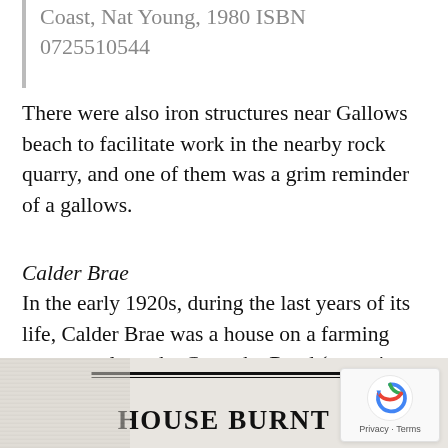Coast, Nat Young, 1980 ISBN 0725510544
There were also iron structures near Gallows beach to facilitate work in the nearby rock quarry, and one of them was a grim reminder of a gallows.
Calder Brae
In the early 1920s, during the last years of its life, Calder Brae was a house on a farming property along the Coramba Road (opposite Roselands Drive). The house was rented, and its surrounding fruit trees are still remembered today. [2]
[Figure (photo): Bottom portion of a newspaper clipping showing bold headline text 'HOUSE BURNT' with a horizontal double rule above it, partially visible photograph on the left side.]